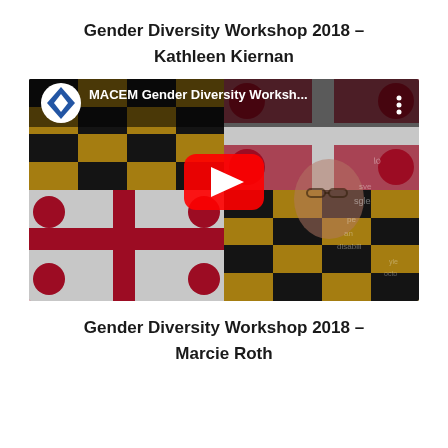Gender Diversity Workshop 2018 – Kathleen Kiernan
[Figure (screenshot): YouTube video thumbnail showing 'MACEM Gender Diversity Worksh...' with a play button overlay. Background shows the Maryland state flag with red/white/black/yellow checkerboard and cross pattern. A person with glasses is visible in the background.]
Gender Diversity Workshop 2018 – Marcie Roth